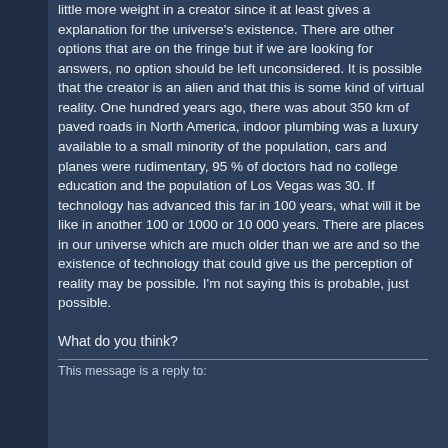little more weight in a creator since it at least gives a explanation for the universe's existence. There are other options that are on the fringe but if we are looking for answers, no option should be left unconsidered. It is possible that the creator is an alien and that this is some kind of virtual reality. One hundred years ago, there was about 350 km of paved roads in North America, indoor plumbing was a luxury available to a small minority of the population, cars and planes were rudimentary, 95 % of doctors had no college education and the population of Los Vegas was 30. If technology has advanced this far in 100 years, what will it be like in another 100 or 1000 or 10 000 years. There are places in our universe which are much older than we are and so the existence of technology that could give us the perception of reality may be possible. I'm not saying this is probable, just possible.
What do you think?
This message is a reply to: